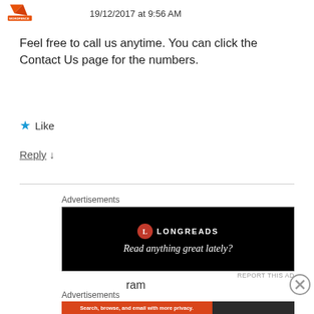19/12/2017 at 9:56 AM
Feel free to call us anytime. You can click the Contact Us page for the numbers.
★ Like
Reply ↓
Advertisements
[Figure (screenshot): Longreads advertisement banner: black background with Longreads logo and text 'Read anything great lately?']
REPORT THIS AD
ram
Advertisements
[Figure (screenshot): DuckDuckGo advertisement: orange background with text 'Search, browse, and email with more privacy. All in One Free App' and DuckDuckGo logo on dark background.]